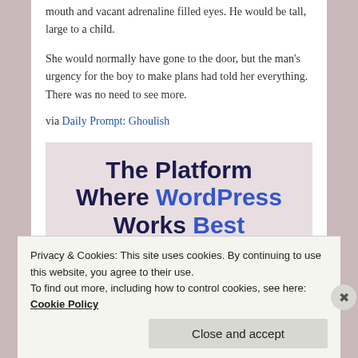mouth and vacant adrenaline filled eyes. He would be tall, large to a child.
She would normally have gone to the door, but the man's urgency for the boy to make plans had told her everything. There was no need to see more.
via Daily Prompt: Ghoulish
[Figure (infographic): Advertisement banner: The Platform Where WordPress Works Best]
Privacy & Cookies: This site uses cookies. By continuing to use this website, you agree to their use.
To find out more, including how to control cookies, see here: Cookie Policy
Close and accept